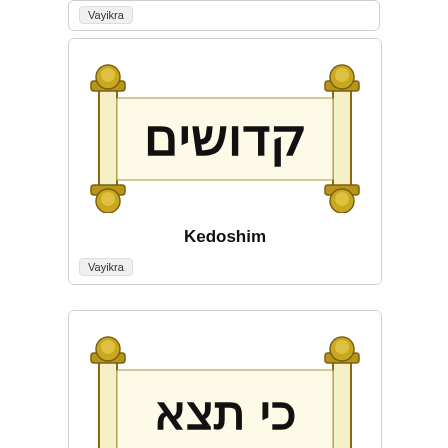Vayikra
[Figure (illustration): Torah scroll illustration with Hebrew text קדושים (Kedoshim)]
Kedoshim
Vayikra
[Figure (illustration): Torah scroll illustration with Hebrew text כי תצא (Ki Tisa)]